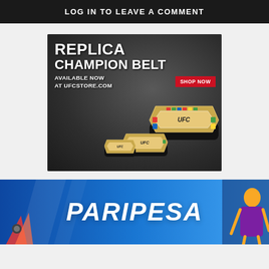LOG IN TO LEAVE A COMMENT
[Figure (illustration): UFC Replica Champion Belt advertisement. Dark grey textured background with three UFC championship belts in black and gold. Text reads: REPLICA CHAMPION BELT AVAILABLE NOW AT UFCSTORE.COM with a red SHOP NOW button.]
[Figure (illustration): Paripesa sports betting banner advertisement. Blue gradient background with the word PARIPESA in large white italic bold text. A woman figure is visible on the right side, and red flame imagery on the bottom left.]